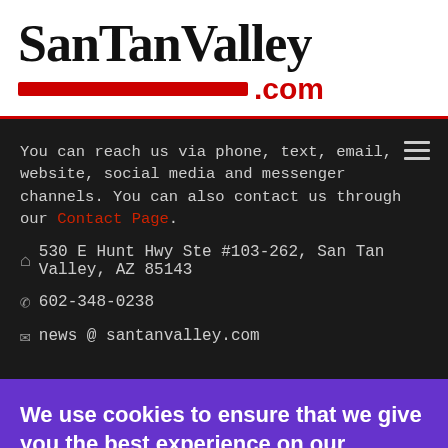[Figure (logo): SanTanValley.com logo with large serif black text and red .com with red underbar]
You can reach us via phone, text, email, website, social media and messenger channels. You can also contact us through our Contact Page.
530 E Hunt Hwy Ste #103-262, San Tan Valley, AZ 85143
602-348-0238
news @ santanvalley.com
We use cookies to ensure that we give you the best experience on our website.